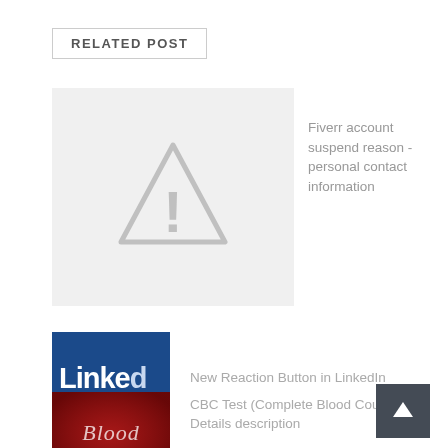RELATED POST
[Figure (illustration): Gray placeholder image with a warning triangle (exclamation mark) icon]
Fiverr account suspend reason - personal contact information
[Figure (photo): LinkedIn logo thumbnail - dark blue background with white 'Linked' text]
New Reaction Button in LinkedIn
[Figure (photo): Blood-themed thumbnail with red background and italic 'Blood' text]
CBC Test (Complete Blood Count Test) Details description